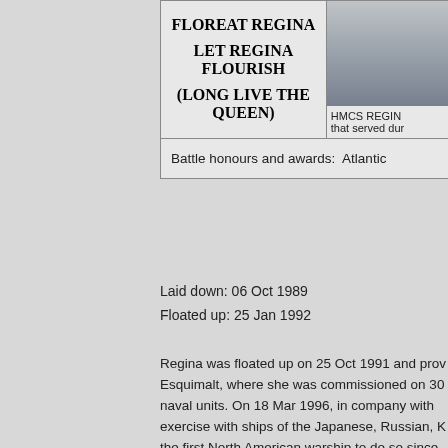| FLOREAT REGINA
LET REGINA FLOURISH
(LONG LIVE THE QUEEN) | HMCS REGIN...
that served dur... |
| Battle honours and awards:  Atlantic... |  |
Laid down: 06 Oct 1989
Floated up: 25 Jan 1992
Regina was floated up on 25 Oct 1991 and pro... Esquimalt, where she was commissioned on 30... naval units. On 18 Mar 1996, in company with... exercise with ships of the Japanese, Russian, K... the first North American warship to do so since... sailed to join a US carrier battle group in the er... on the same mission, this time with the USS Co...